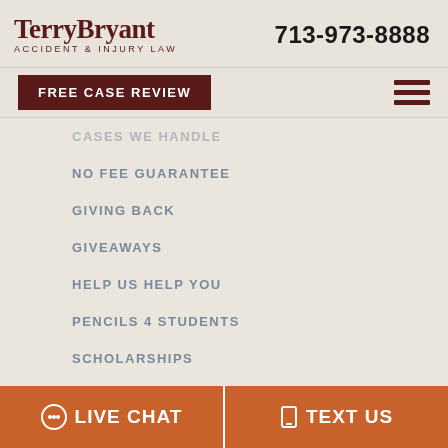[Figure (logo): Terry Bryant Accident & Injury Law logo with firm name in serif font]
713-973-8888
FREE CASE REVIEW
CASES WE HANDLE
NO FEE GUARANTEE
GIVING BACK
GIVEAWAYS
HELP US HELP YOU
PENCILS 4 STUDENTS
SCHOLARSHIPS
NEWSLETTER: TEXAS INJURY INSIDER
LIVE CHAT
TEXT US